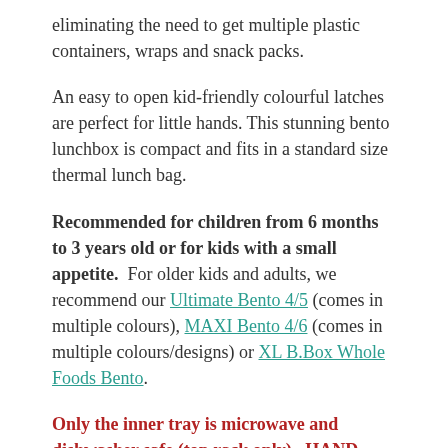eliminating the need to get multiple plastic containers, wraps and snack packs.
An easy to open kid-friendly colourful latches are perfect for little hands. This stunning bento lunchbox is compact and fits in a standard size thermal lunch bag.
Recommended for children from 6 months to 3 years old or for kids with a small appetite.  For older kids and adults, we recommend our Ultimate Bento 4/5 (comes in multiple colours), MAXI Bento 4/6 (comes in multiple colours/designs) or XL B.Box Whole Foods Bento.
Only the inner tray is microwave and dishwasher safe (top rack only).  HAND WASH the outer shell with lukewarm soapy water gently lifting the silicone seal with the back of the teaspoon before